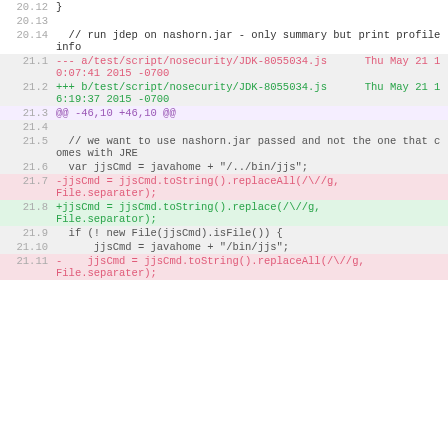Code diff view showing lines 20.12-21.11 with removed/added lines in a JavaScript file test/script/nosecurity/JDK-8055034.js
| Line | Code |
| --- | --- |
| 20.12 | } |
| 20.13 |  |
| 20.14 | // run jdep on nashorn.jar - only summary but print profile info |
| 21.1 | --- a/test/script/nosecurity/JDK-8055034.js      Thu May 21 10:07:41 2015 -0700 |
| 21.2 | +++ b/test/script/nosecurity/JDK-8055034.js      Thu May 21 16:19:37 2015 -0700 |
| 21.3 | @@ -46,10 +46,10 @@ |
| 21.4 |  |
| 21.5 | // we want to use nashorn.jar passed and not the one that comes with JRE |
| 21.6 | var jjsCmd = javahome + "/../bin/jjs"; |
| 21.7 | -jjsCmd = jjsCmd.toString().replaceAll(/\//g, File.separater); |
| 21.8 | +jjsCmd = jjsCmd.toString().replace(/\//g, File.separator); |
| 21.9 | if (! new File(jjsCmd).isFile()) { |
| 21.10 |     jjsCmd = javahome + "/bin/jjs"; |
| 21.11 | -    jjsCmd = jjsCmd.toString().replaceAll(/\//g, File.separater); |